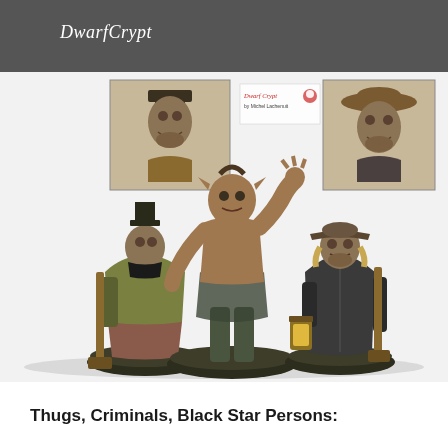DwarfCrypt
[Figure (photo): Three painted fantasy miniature figures on round bases: left figure wears a top hat and cloak and holds a shovel, center figure is a shirtless demon/monster with clawed hands raised, right figure wears a tricorn hat and coat and holds a lantern and shovel. Two inset portrait-style photos in the upper portion show close-up faces of the left and right figures. A small logo reading 'Dwarf Crypt by Michel Lachenuit' appears between the insets.]
Thugs, Criminals, Black Star Persons: